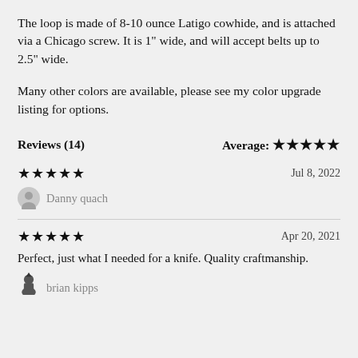The loop is made of 8-10 ounce Latigo cowhide, and is attached via a Chicago screw. It is 1" wide, and will accept belts up to 2.5" wide.
Many other colors are available, please see my color upgrade listing for options.
Reviews (14)   Average: ★★★★★
★★★★★   Jul 8, 2022
Danny quach
★★★★★   Apr 20, 2021
Perfect, just what I needed for a knife. Quality craftmanship.
brian kipps